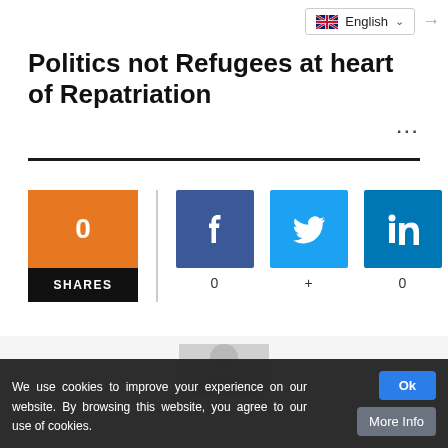[Figure (screenshot): Language selector showing UK flag and 'English' with dropdown arrow]
Politics not Refugees at heart of Repatriation
...
[Figure (infographic): Social share widget: orange box showing 0 SHARES, vertical divider, Facebook button (0), Twitter/plus button (+), LinkedIn button (0)]
[Figure (photo): Author avatar placeholder showing grey silhouette on light grey background]
We use cookies to improve your experience on our website. By browsing this website, you agree to our use of cookies.